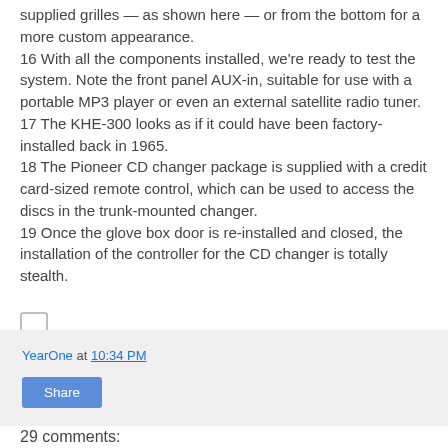supplied grilles — as shown here — or from the bottom for a more custom appearance.
16 With all the components installed, we're ready to test the system. Note the front panel AUX-in, suitable for use with a portable MP3 player or even an external satellite radio tuner.
17 The KHE-300 looks as if it could have been factory-installed back in 1965.
18 The Pioneer CD changer package is supplied with a credit card-sized remote control, which can be used to access the discs in the trunk-mounted changer.
19 Once the glove box door is re-installed and closed, the installation of the controller for the CD changer is totally stealth.
[Figure (other): Small checkbox or image placeholder]
YearOne at 10:34 PM
Share
29 comments: